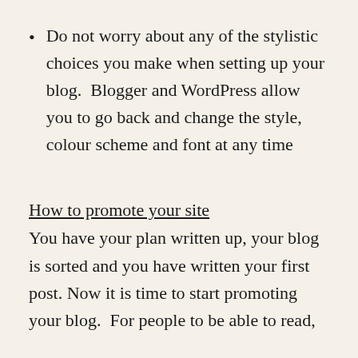Do not worry about any of the stylistic choices you make when setting up your blog.  Blogger and WordPress allow you to go back and change the style, colour scheme and font at any time
How to promote your site
You have your plan written up, your blog is sorted and you have written your first post. Now it is time to start promoting your blog.  For people to be able to read,